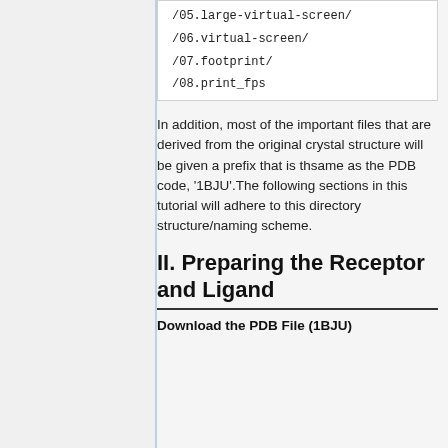/05.large-virtual-screen/
/06.virtual-screen/
/07.footprint/
/08.print_fps
In addition, most of the important files that are derived from the original crystal structure will be given a prefix that is thsame as the PDB code, '1BJU'.The following sections in this tutorial will adhere to this directory structure/naming scheme.
II. Preparing the Receptor and Ligand
Download the PDB File (1BJU)